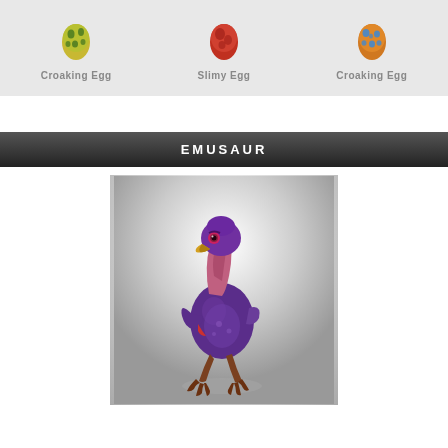[Figure (illustration): Three decorative eggs in a row on a gray background. Left: yellow-green egg with dark green spots labeled 'Croaking Egg'. Center: red/orange egg with darker red pattern labeled 'Slimy Egg'. Right: orange egg with blue spots labeled 'Croaking Egg'.]
Croaking Egg    Slimy Egg    Croaking Egg
EMUSAUR
[Figure (illustration): A cartoon fantasy creature called Emusaur — a bird-like dinosaur with purple feathers/body, pink neck, yellow beak, large expressive eyes, brown scaly legs and clawed feet, standing upright on a gray gradient background.]